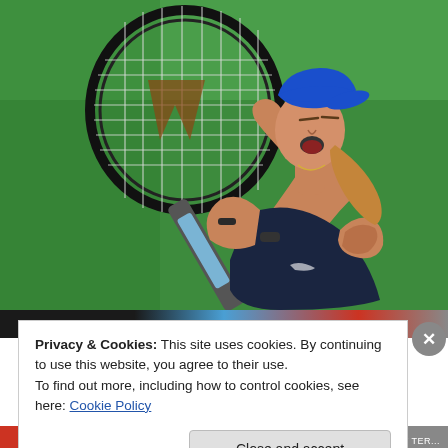[Figure (photo): A female tennis player celebrating, holding a Wilson tennis racket raised above her head, wearing a blue cap tilted back and a dark navy tennis outfit, with green court background behind her]
Privacy & Cookies: This site uses cookies. By continuing to use this website, you agree to their use.
To find out more, including how to control cookies, see here: Cookie Policy
Close and accept